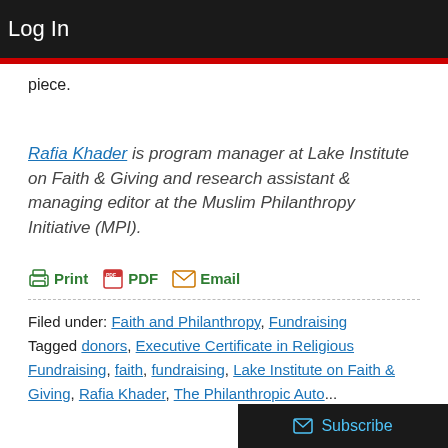Log In
piece.
Rafia Khader is program manager at Lake Institute on Faith & Giving and research assistant & managing editor at the Muslim Philanthropy Initiative (MPI).
Print  PDF  Email
Filed under: Faith and Philanthropy, Fundraising
Tagged donors, Executive Certificate in Religious Fundraising, faith, fundraising, Lake Institute on Faith & Giving, Rafia Khader, The Philanthropic Auto...